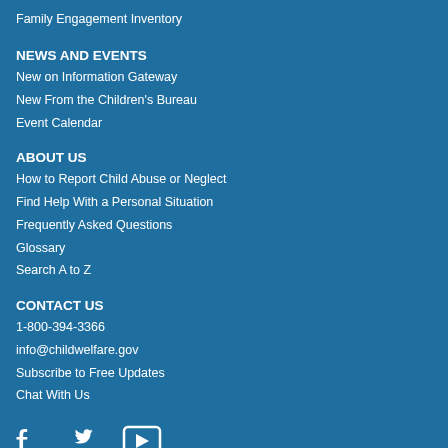Family Engagement Inventory
NEWS AND EVENTS
New on Information Gateway
New From the Children's Bureau
Event Calendar
ABOUT US
How to Report Child Abuse or Neglect
Find Help With a Personal Situation
Frequently Asked Questions
Glossary
Search A to Z
CONTACT US
1-800-394-3366
info@childwelfare.gov
Subscribe to Free Updates
Chat With Us
[Figure (illustration): Social media icons: Facebook, Twitter, YouTube]